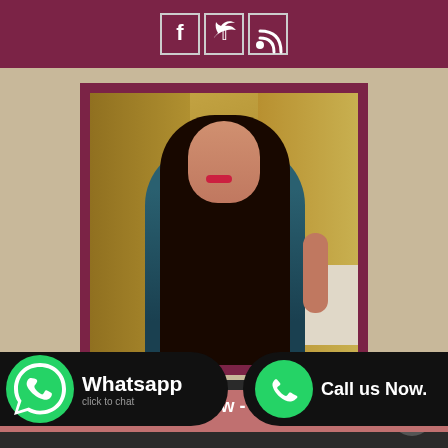[Figure (other): Social media icons bar: Facebook, Twitter, RSS feed icons in white on dark maroon background]
[Figure (photo): Photo of a young woman with long dark hair wearing a teal/dark green dress, sitting in what appears to be a hotel room with a bed visible in background]
[Figure (other): WhatsApp chat button with green WhatsApp icon on black rounded bar, text: Whatsapp click to chat]
[Figure (other): Call us Now button with green phone icon on black rounded bar]
Call Jaincy Now - 8651202166
WhatsApp To Jaincy - 8651202166